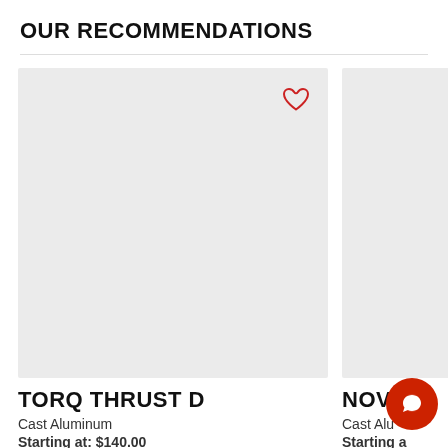OUR RECOMMENDATIONS
[Figure (photo): Product image placeholder for TORQ THRUST D, light gray background with red heart/wishlist icon in upper right corner]
TORQ THRUST D
Cast Aluminum
Starting at: $140.00
[Figure (photo): Product image placeholder for NOVA, light gray background, partially visible (cropped on right side)]
NOVA
Cast Aluminum
Starting at: $334.00